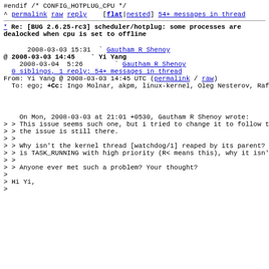#endif /* CONFIG_HOTPLUG_CPU */
^ permalink raw reply   [flat|nested] 54+ messages in thread
* Re: [BUG 2.6.25-rc3] scheduler/hotplug: some processes are dealocked when cpu is set to offline
2008-03-03 15:31  ` Gautham R Shenoy
@ 2008-03-03 14:45    ` Yi Yang
  2008-03-04  5:26      ` Gautham R Shenoy
  0 siblings, 1 reply; 54+ messages in thread
From: Yi Yang @ 2008-03-03 14:45 UTC (permalink / raw)
  To: ego; +Cc: Ingo Molnar, akpm, linux-kernel, Oleg Nesterov, Rafael J. Wysocki
On Mon, 2008-03-03 at 21:01 +0530, Gautham R Shenoy wrote:
> > This issue seems such one, but i tried to change it to follow this rule but
> > the issue is still there.
> >
> > Why isn't the kernel thread [watchdog/1] reaped by its parent? its state
> > is TASK_RUNNING with high priority (R< means this), why it isn't done?
> >
> > Anyone ever met such a problem? Your thought?
>
> Hi Yi,
>